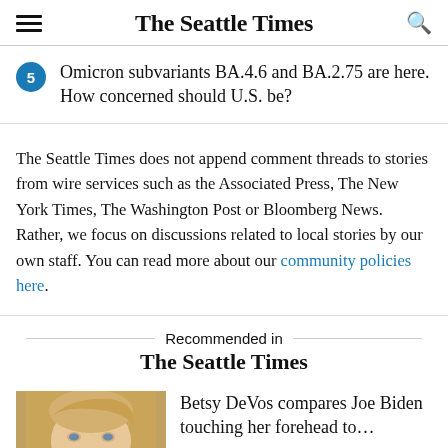The Seattle Times
5 Omicron subvariants BA.4.6 and BA.2.75 are here. How concerned should U.S. be?
The Seattle Times does not append comment threads to stories from wire services such as the Associated Press, The New York Times, The Washington Post or Bloomberg News. Rather, we focus on discussions related to local stories by our own staff. You can read more about our community policies here.
Recommended in The Seattle Times
Betsy DeVos compares Joe Biden touching her forehead to…